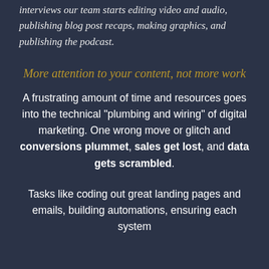interviews our team starts editing video and audio, publishing blog post recaps, making graphics, and publishing the podcast.
More attention to your content, not more work
A frustrating amount of time and resources goes into the technical "plumbing and wiring" of digital marketing. One wrong move or glitch and conversions plummet, sales get lost, and data gets scrambled.
Tasks like coding out great landing pages and emails, building automations, ensuring each system